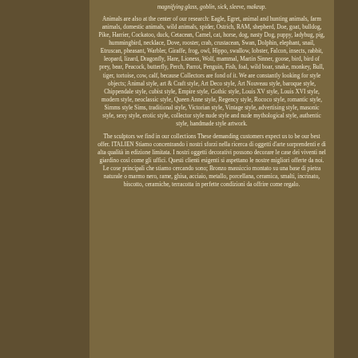magnifying glass, goblin, sick, sleeve, makeup.
Animals are also at the center of our research: Eagle, Egret, animal and hunting animals, farm animals, domestic animals, wild animals, spider, Ostrich, RAM, shepherd, Doe, goat, bulldog, Pike, Harrier, Cockatoo, duck, Cetacean, Camel, cat, horse, dog, nasty Dog, puppy, ladybug, pig, hummingbird, necklace, Dove, rooster, crab, crustacean, Swan, Dolphin, elephant, snail, Etruscan, pheasant, Warbler, Giraffe, frog, owl, Hippo, swallow, lobster, Falcon, insects, rabbit, leopard, lizard, Dragonfly, Hare, Lioness, Wolf, mammal, Martin Sinner, goose, bird, bird of prey, bear, Peacock, butterfly, Perch, Parrot, Penguin, Fish, foal, wild boar, snake, monkey, Bull, tiger, tortoise, cow, calf, because Collectors are fond of it. We are constantly looking for style objects; Animal style, art & Craft style, Art Deco style, Art Nouveau style, baroque style, Chippendale style, cubist style, Empire style, Gothic style, Louis XV style, Louis XVI style, modern style, neoclassic style, Queen Anne style, Regency style, Rococo style, romantic style, Simms style Sims, traditional style, Victorian style, Vintage style, advertising style, masonic style, sexy style, erotic style, collector style nude style and nude mythological style, authentic style, handmade style artwork.
The sculptors we find in our collections These demanding customers expect us to be our best offer. ITALIEN Stiamo concentrando i nostri sforzi nella ricerca di oggetti d'arte sorprendenti e di alta qualità in edizione limitata. I nostri oggetti decorativi possono decorare le case dei viventi nel giardino così come gli uffici. Questi clienti esigenti si aspettano le nostre migliori offerte da noi. Le cose principali che stiamo cercando sono; Bronzo massiccio montato su una base di pietra naturale o marmo nero, rame, ghisa, acciaio, metallo, porcellana, ceramica, smalti, incrinato, biscotto, ceramiche, terracotta in perfette condizioni da offrire come regalo.